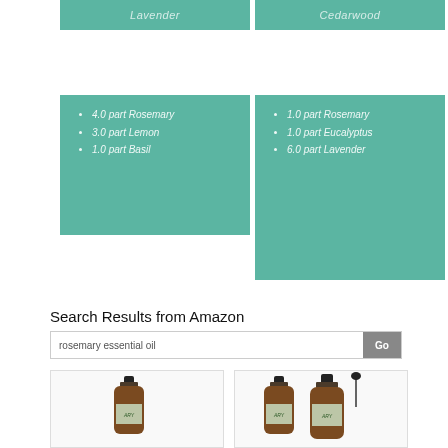[Figure (illustration): Teal/green card with label 'Lavender' at top left]
[Figure (illustration): Teal/green card with label 'Cedarwood' at top right]
4.0 part Rosemary
3.0 part Lemon
1.0 part Basil
1.0 part Rosemary
1.0 part Eucalyptus
6.0 part Lavender
Search Results from Amazon
rosemary essential oil
[Figure (photo): Product photo of a dark amber bottle of rosemary essential oil with green label]
[Figure (photo): Product photo of two dark amber bottles of rosemary essential oil with green labels and dropper]